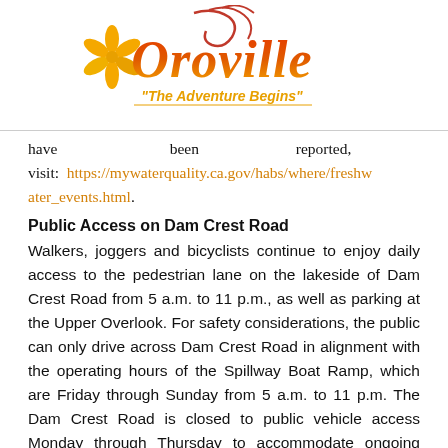[Figure (logo): Oroville city logo with stylized orange/red script text reading 'Oroville' with orange flowers and tagline 'The Adventure Begins' in orange]
have been reported, visit: https://mywaterquality.ca.gov/habs/where/freshwater_events.html.
Public Access on Dam Crest Road
Walkers, joggers and bicyclists continue to enjoy daily access to the pedestrian lane on the lakeside of Dam Crest Road from 5 a.m. to 11 p.m., as well as parking at the Upper Overlook. For safety considerations, the public can only drive across Dam Crest Road in alignment with the operating hours of the Spillway Boat Ramp, which are Friday through Sunday from 5 a.m. to 11 p.m. The Dam Crest Road is closed to public vehicle access Monday through Thursday to accommodate ongoing construction.